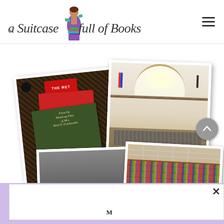[Figure (logo): A Suitcase Full of Books blog logo with decorative script text and illustrated woman in purple dress with books/suitcase]
[Figure (photo): Collage of four photos: books on dark carpet (including 'From the Mixed-up Files of Mrs. Basil E. Frankweiler' and The Met book), museum/library great hall interior, crowd scene, and library shelves with glass ceiling]
[Figure (other): Lavender popup bar at bottom with white box, close X button, and partial heading text beginning with 'M']